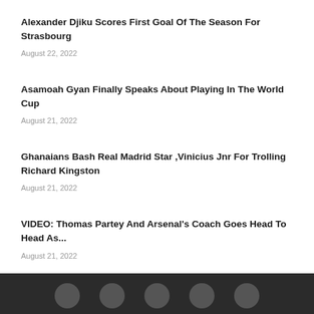Alexander Djiku Scores First Goal Of The Season For Strasbourg
August 22, 2022
Asamoah Gyan Finally Speaks About Playing In The World Cup
August 21, 2022
Ghanaians Bash Real Madrid Star ,Vinicius Jnr For Trolling Richard Kingston
August 21, 2022
VIDEO: Thomas Partey And Arsenal's Coach Goes Head To Head As...
August 21, 2022